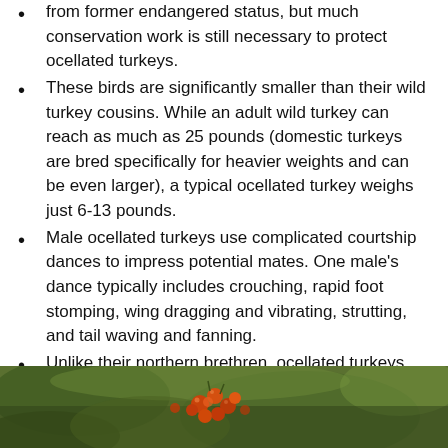from former endangered status, but much conservation work is still necessary to protect ocellated turkeys.
These birds are significantly smaller than their wild turkey cousins. While an adult wild turkey can reach as much as 25 pounds (domestic turkeys are bred specifically for heavier weights and can be even larger), a typical ocellated turkey weighs just 6-13 pounds.
Male ocellated turkeys use complicated courtship dances to impress potential mates. One male's dance typically includes crouching, rapid foot stomping, wing dragging and vibrating, strutting, and tail waving and fanning.
Unlike their northern brethren, ocellated turkeys are not known to have been domesticated at any point in history. There is evidence, however, that the birds may have been used in trades in the ancient Mayan culture, and ocellated turkeys have been and still are an important food source for many indigenous cultures in the region.
[Figure (photo): Bottom portion of a photograph showing colorful birds (likely ocellated turkeys) in a green natural setting with berries or fruit visible.]